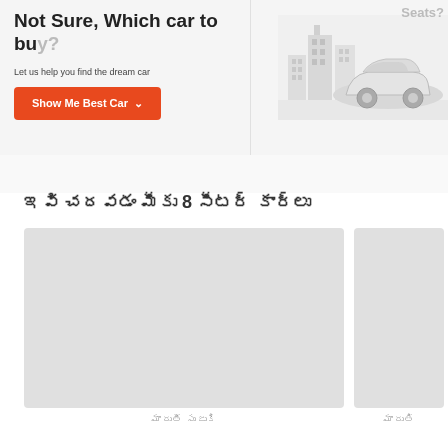Not Sure, Which car to buy?
Let us help you find the dream car
Show Me Best Car
[Figure (illustration): Seats? label with a city skyline and a car illustration on light grey background]
ఇవి చదవడం మీకు 8 సీటర్ కార్లు
[Figure (photo): Large grey placeholder image card]
మారుతీ సుజుకి
[Figure (photo): Smaller grey placeholder image card]
మారుతి